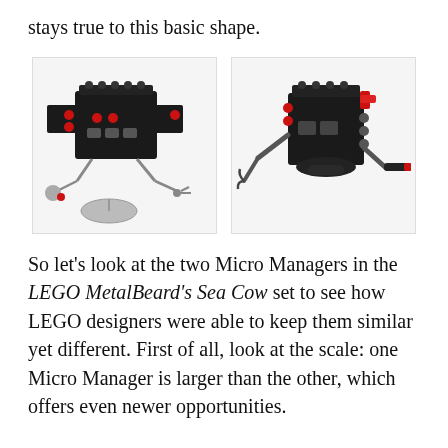stays true to this basic shape.
[Figure (photo): Two LEGO Micro Manager figures from the LEGO MetalBeard's Sea Cow set. Left image shows a larger black boxy robot with red accents, mechanical legs and a satellite dish. Right image shows a smaller black cube-shaped robot with red pegs and mechanical arms/tools.]
So let's look at the two Micro Managers in the LEGO MetalBeard's Sea Cow set to see how LEGO designers were able to keep them similar yet different. First of all, look at the scale: one Micro Manager is larger than the other, which offers even newer opportunities.